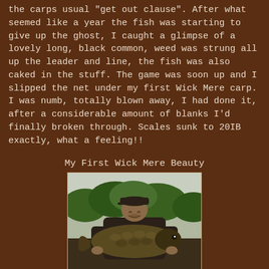the carps usual "get out clause". After what seemed like a year the fish was starting to give up the ghost, I caught a glimpse of a lovely long, black common, weed was strung all up the leader and line, the fish was also caked in the stuff. The game was soon up and I slipped the net under my first Wick Mere carp. I was numb, totally blown away, I had done it, after a considerable amount of blanks I'd finally broken through. Scales sunk to 20IB exactly, what a feeling!!
My First Wick Mere Beauty
[Figure (photo): A man holding a large carp fish in front of green trees and an overcast sky. The fish is large, dark-scaled, and the man is wearing a dark cap.]